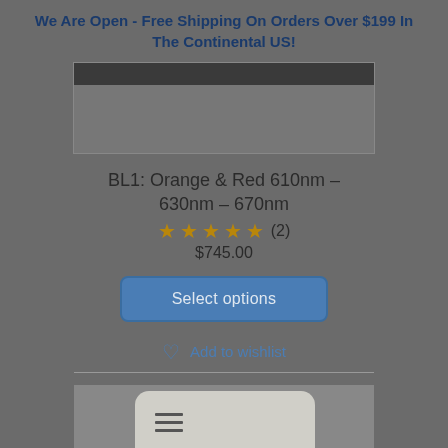We Are Open - Free Shipping On Orders Over $199 In The Continental US!
[Figure (photo): Product image top - dark bar with gray body area]
BL1: Orange & Red 610nm – 630nm – 670nm
★★★★★ (2)
$745.00
Select options
Add to wishlist
[Figure (photo): Product image bottom - device with rounded top and horizontal lines on left side]